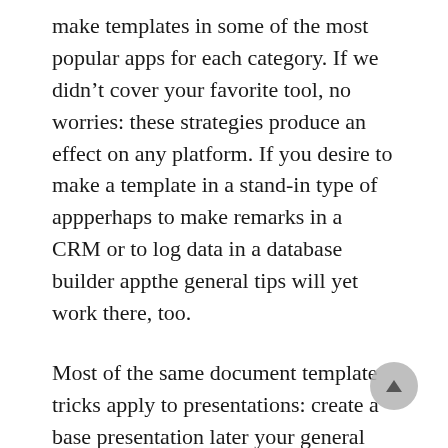make templates in some of the most popular apps for each category. If we didn’t cover your favorite tool, no worries: these strategies produce an effect on any platform. If you desire to make a template in a stand-in type of appperhaps to make remarks in a CRM or to log data in a database builder appthe general tips will yet work there, too.
Most of the same document template tricks apply to presentations: create a base presentation later your general layout, apply your style to the slides, then duplicate the presentation and occupy in the blanks each get older you need to present something. Or, there’s unconventional way. If you often reuse the perfect similar slides in alternating presentationsperhaps a slide once your situation plan, company statement, goals, or some extra common elementsyou can copy individual slides from one presentation into option without sacrificing your